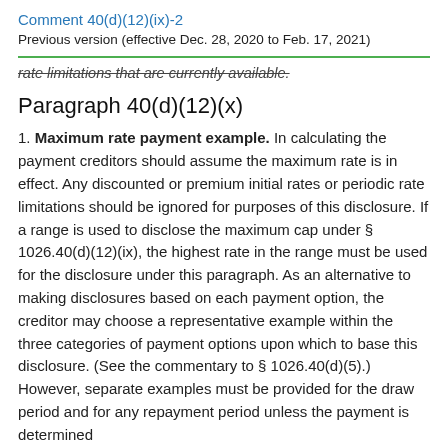Comment 40(d)(12)(ix)-2
Previous version (effective Dec. 28, 2020 to Feb. 17, 2021)
rate limitations that are currently available.
Paragraph 40(d)(12)(x)
1. Maximum rate payment example. In calculating the payment creditors should assume the maximum rate is in effect. Any discounted or premium initial rates or periodic rate limitations should be ignored for purposes of this disclosure. If a range is used to disclose the maximum cap under § 1026.40(d)(12)(ix), the highest rate in the range must be used for the disclosure under this paragraph. As an alternative to making disclosures based on each payment option, the creditor may choose a representative example within the three categories of payment options upon which to base this disclosure. (See the commentary to § 1026.40(d)(5).) However, separate examples must be provided for the draw period and for any repayment period unless the payment is determined